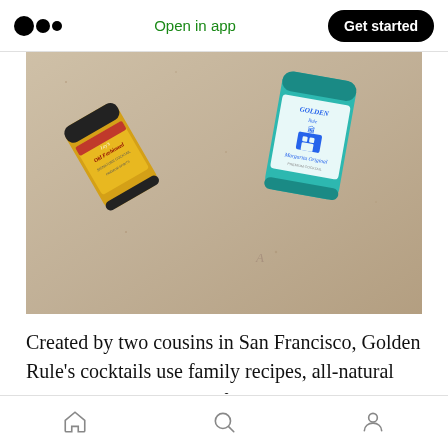Open in app  Get started
[Figure (photo): Two canned cocktails resting in sand at the beach. Left can is yellow/gold labeled 'Old Fashioned'. Right can is teal/turquoise labeled 'Golden Rule Margarita Original'.]
Created by two cousins in San Francisco, Golden Rule's cocktails use family recipes, all-natural ingredients, and top shelf spirits to create a quality, authentic drinking experience wherever life takes you. The Golden Rule Margarita Original is made with top shelf 100% agave
Home  Search  Profile